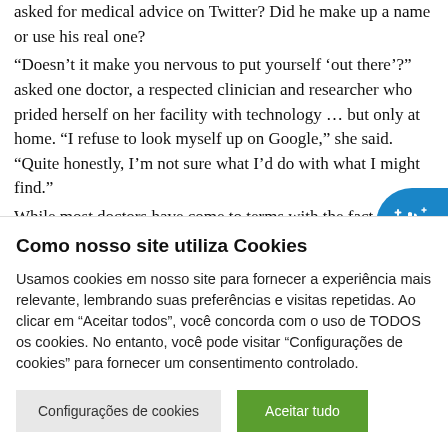asked for medical advice on Twitter? Did he make up a name or use his real one? “Doesn’t it make you nervous to put yourself ‘out there’?” asked one doctor, a respected clinician and researcher who prided herself on her facility with technology … but only at home. “I refuse to look myself up on Google,” she said. “Quite honestly, I’m not sure what I’d do with what I might find.” While most doctors have come to terms with the fact that their patients routinely go online for information
[Figure (other): Circular blue button with hand/accessibility icon, positioned at right edge of page]
Como nosso site utiliza Cookies
Usamos cookies em nosso site para fornecer a experiência mais relevante, lembrando suas preferências e visitas repetidas. Ao clicar em “Aceitar todos”, você concorda com o uso de TODOS os cookies. No entanto, você pode visitar "Configurações de cookies" para fornecer um consentimento controlado.
Configurações de cookies | Aceitar tudo